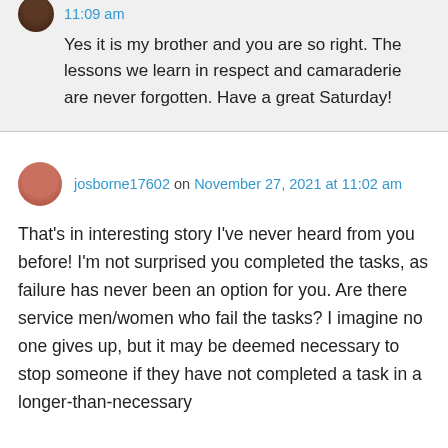11:09 am
Yes it is my brother and you are so right. The lessons we learn in respect and camaraderie are never forgotten. Have a great Saturday!
josborne17602 on November 27, 2021 at 11:02 am
That's in interesting story I've never heard from you before! I'm not surprised you completed the tasks, as failure has never been an option for you. Are there service men/women who fail the tasks? I imagine no one gives up, but it may be deemed necessary to stop someone if they have not completed a task in a longer-than-necessary